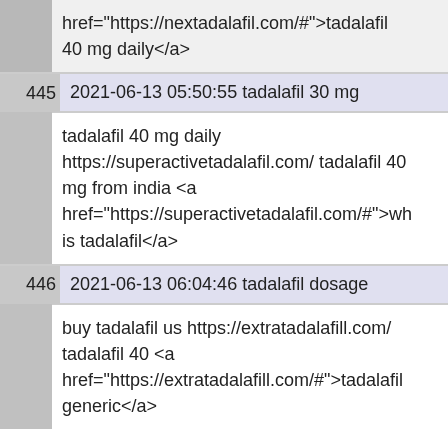href="https://nextadalafil.com/#">tadalafil 40 mg daily</a>
445  2021-06-13 05:50:55 tadalafil 30 mg
tadalafil 40 mg daily https://superactivetadalafil.com/ tadalafil 40 mg from india <a href="https://superactivetadalafil.com/#">wh is tadalafil</a>
446  2021-06-13 06:04:46 tadalafil dosage
buy tadalafil us https://extratadalafill.com/ tadalafil 40 <a href="https://extratadalafill.com/#">tadalafil generic</a>